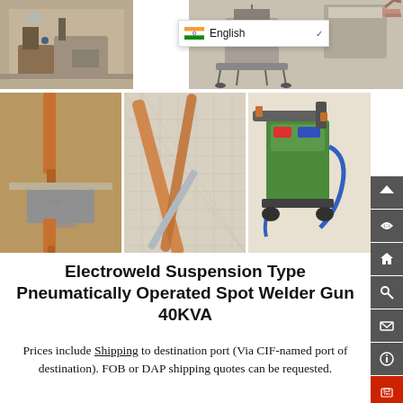[Figure (photo): Industrial welding machine setup in workshop]
[Figure (photo): Suspension type spot welder machine on stand]
[Figure (photo): Language selector dropdown showing English with Indian flag]
[Figure (photo): Close-up of spot welder copper electrodes on metal sheet]
[Figure (photo): Close-up of copper weld rods crossing over mesh fabric]
[Figure (photo): Green portable pneumatic spot welder gun machine]
Electroweld Suspension Type Pneumatically Operated Spot Welder Gun 40KVA
Prices include Shipping to destination port (Via CIF-named port of destination). FOB or DAP shipping quotes can be requested.